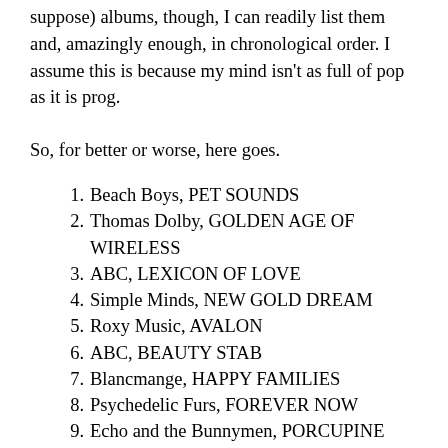suppose) albums, though, I can readily list them and, amazingly enough, in chronological order.  I assume this is because my mind isn't as full of pop as it is prog.
So, for better or worse, here goes.
1. Beach Boys, PET SOUNDS
2. Thomas Dolby, GOLDEN AGE OF WIRELESS
3. ABC, LEXICON OF LOVE
4. Simple Minds, NEW GOLD DREAM
5. Roxy Music, AVALON
6. ABC, BEAUTY STAB
7. Blancmange, HAPPY FAMILIES
8. Psychedelic Furs, FOREVER NOW
9. Echo and the Bunnymen, PORCUPINE
10. Echo and the Bunnymen, OCEAN RAIN
11. Simple Minds, SPARKLE IN THE RAIN